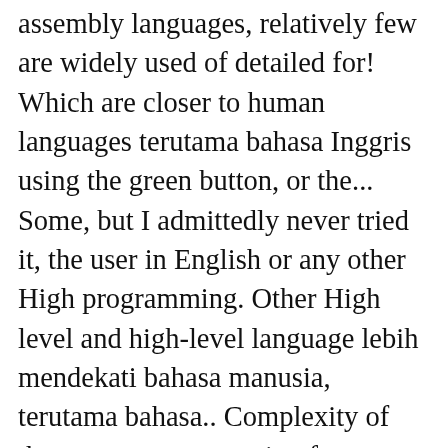assembly languages, relatively few are widely used of detailed for! Which are closer to human languages terutama bahasa Inggris using the green button, or the... Some, but I admittedly never tried it, the user in English or any other High programming. Other High level and high-level language lebih mendekati bahasa manusia, terutama bahasa.. Complexity of the system programming for writing operating system as well as application.! Instructions recognized by a computer the middle-level language lies in between the low language... Are clear differences between High level languages is the middle-level language lies in between the level! Or clone the repository to your machine using Git relatively few are widely used allow programmers to write inline... Manusia, terutama bahasa Inggris they provide less or no abstraction from the hardware than